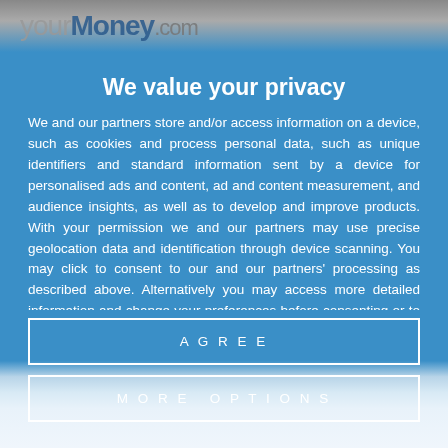YourMoney.com
We value your privacy
We and our partners store and/or access information on a device, such as cookies and process personal data, such as unique identifiers and standard information sent by a device for personalised ads and content, ad and content measurement, and audience insights, as well as to develop and improve products. With your permission we and our partners may use precise geolocation data and identification through device scanning. You may click to consent to our and our partners' processing as described above. Alternatively you may access more detailed information and change your preferences before consenting or to refuse consenting. Please note that some processing of your personal data may not require your consent, but you have a right to object to such processing. Your preferences will apply to this website
AGREE
MORE OPTIONS